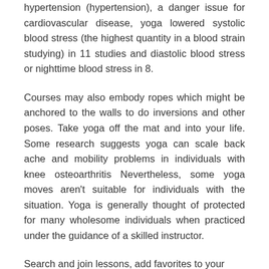hypertension (hypertension), a danger issue for cardiovascular disease, yoga lowered systolic blood stress (the highest quantity in a blood strain studying) in 11 studies and diastolic blood stress or nighttime blood stress in 8.
Courses may also embody ropes which might be anchored to the walls to do inversions and other poses. Take yoga off the mat and into your life. Some research suggests yoga can scale back ache and mobility problems in individuals with knee osteoarthritis Nevertheless, some yoga moves aren't suitable for individuals with the situation. Yoga is generally thought of protected for many wholesome individuals when practiced under the guidance of a skilled instructor.
Search and join lessons, add favorites to your